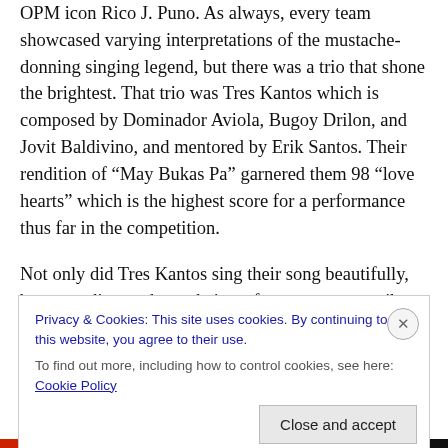OPM icon Rico J. Puno. As always, every team showcased varying interpretations of the mustache-donning singing legend, but there was a trio that shone the brightest. That trio was Tres Kantos which is composed by Dominador Aviola, Bugoy Drilon, and Jovit Baldivino, and mentored by Erik Santos. Their rendition of “May Bukas Pa” garnered them 98 “love hearts” which is the highest score for a performance thus far in the competition.
Not only did Tres Kantos sing their song beautifully, but according to them, their performance was a tribute to ethnic tribes as well. As a result, their song number drew a
Privacy & Cookies: This site uses cookies. By continuing to use this website, you agree to their use.
To find out more, including how to control cookies, see here: Cookie Policy